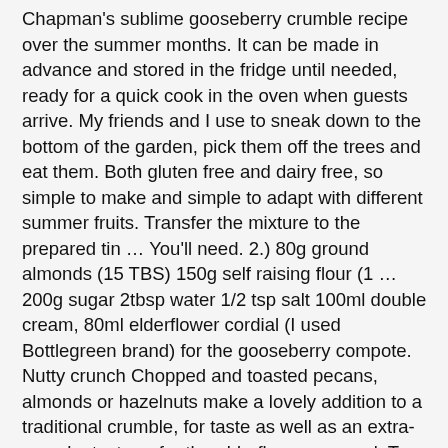Chapman's sublime gooseberry crumble recipe over the summer months. It can be made in advance and stored in the fridge until needed, ready for a quick cook in the oven when guests arrive. My friends and I use to sneak down to the bottom of the garden, pick them off the trees and eat them. Both gluten free and dairy free, so simple to make and simple to adapt with different summer fruits. Transfer the mixture to the prepared tin … You'll need. 2.) 80g ground almonds (15 TBS) 150g self raising flour (1 … 200g sugar 2tbsp water 1/2 tsp salt 100ml double cream, 80ml elderflower cordial (I used Bottlegreen brand) for the gooseberry compote. Nutty crunch Chopped and toasted pecans, almonds or hazelnuts make a lovely addition to a traditional crumble, for taste as well as an extra-crunchy texture. for the elderflower caramel. Toss the gooseberries with the remaining 75g caster sugar and spread them over the top of the cake. Serve with double cream, rose petals and a sprig of mint. The crumble should be golden brown and the filling should be bubbling when ready, Meanwhile, for the custard, combine the cream,